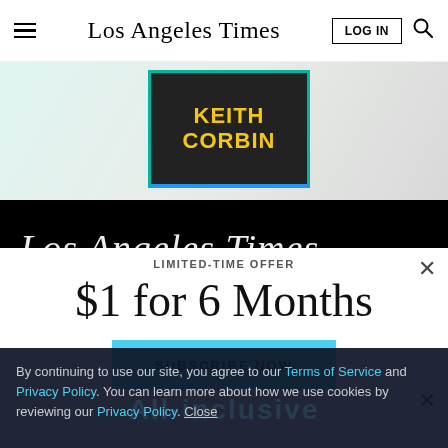Los Angeles Times
[Figure (photo): Advertisement banner showing a book by Keith Corbin with teal and blue border]
[Figure (screenshot): Los Angeles Times logo in white italic text on black background bar]
LIMITED-TIME OFFER
$1 for 6 Months
SUBSCRIBE NOW
By continuing to use our site, you agree to our Terms of Service and Privacy Policy. You can learn more about how we use cookies by reviewing our Privacy Policy. Close